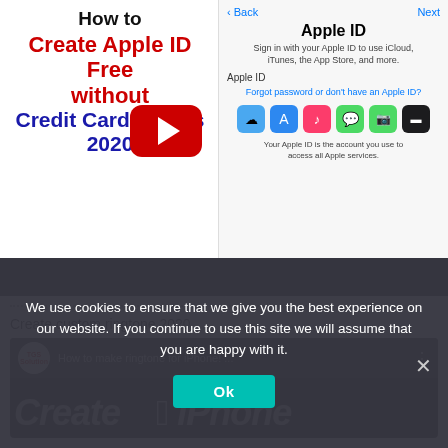[Figure (screenshot): YouTube thumbnail for 'How to Create Apple ID Free without Credit Card Details 2020' with a phone mockup showing Apple ID login screen on the right and a red YouTube play button overlay]
[Figure (screenshot): YouTube video embed showing 'How to make ringtone for iPhone!' with TGS Solution channel logo on dark background with large 'Create iPhone' text]
Create custom ringtone 2020
We use cookies to ensure that we give you the best experience on our website. If you continue to use this site we will assume that you are happy with it.